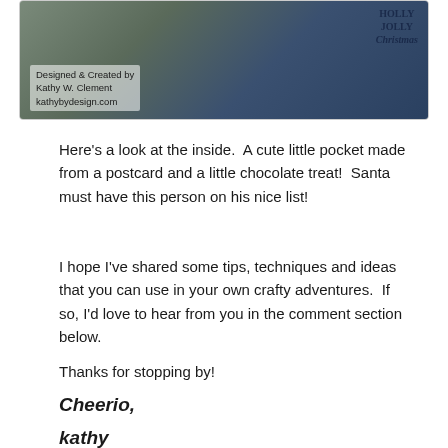[Figure (photo): Craft card photo showing Christmas/holiday themed card with pine cones and ornaments, blue border. Text overlay reads 'Designed & Created by Kathy W. Clement kathybydesign.com'. Holly Jolly Christmas text visible in upper right.]
Here’s a look at the inside.  A cute little pocket made from a postcard and a little chocolate treat!  Santa must have this person on his nice list!
I hope I’ve shared some tips, techniques and ideas that you can use in your own crafty adventures.  If so, I’d love to hear from you in the comment section below.
Thanks for stopping by!
Cheerio,
kathy